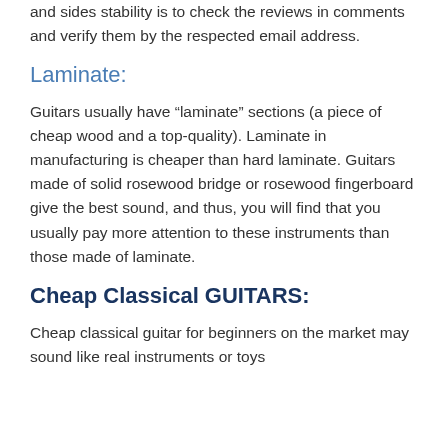and sides stability is to check the reviews in comments and verify them by the respected email address.
Laminate:
Guitars usually have “laminate” sections (a piece of cheap wood and a top-quality). Laminate in manufacturing is cheaper than hard laminate. Guitars made of solid rosewood bridge or rosewood fingerboard give the best sound, and thus, you will find that you usually pay more attention to these instruments than those made of laminate.
Cheap Classical GUITARS:
Cheap classical guitar for beginners on the market may sound like real instruments or toys